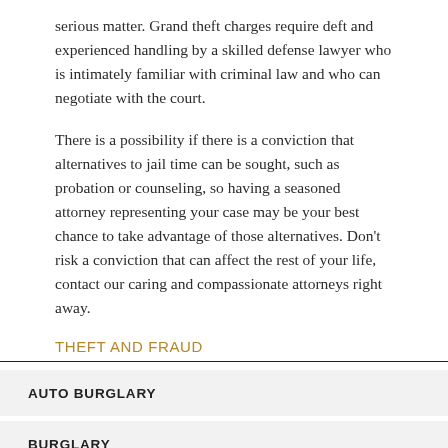serious matter. Grand theft charges require deft and experienced handling by a skilled defense lawyer who is intimately familiar with criminal law and who can negotiate with the court.
There is a possibility if there is a conviction that alternatives to jail time can be sought, such as probation or counseling, so having a seasoned attorney representing your case may be your best chance to take advantage of those alternatives. Don't risk a conviction that can affect the rest of your life, contact our caring and compassionate attorneys right away.
THEFT AND FRAUD
AUTO BURGLARY
BURGLARY